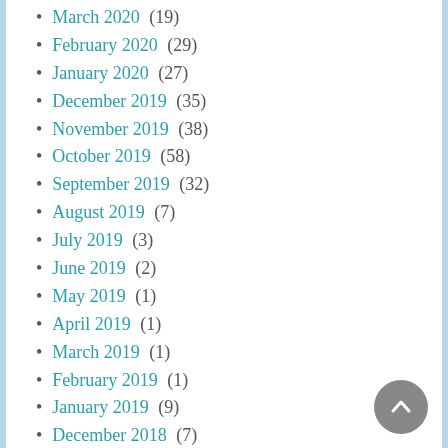March 2020 (19)
February 2020 (29)
January 2020 (27)
December 2019 (35)
November 2019 (38)
October 2019 (58)
September 2019 (32)
August 2019 (7)
July 2019 (3)
June 2019 (2)
May 2019 (1)
April 2019 (1)
March 2019 (1)
February 2019 (1)
January 2019 (9)
December 2018 (7)
November 2018 (6)
October 2018 (7)